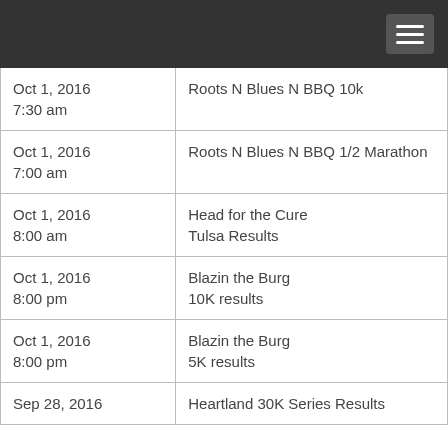| Date/Time | Event |
| --- | --- |
| Oct 1, 2016
7:30 am | Roots N Blues N BBQ 10k |
| Oct 1, 2016
7:00 am | Roots N Blues N BBQ 1/2 Marathon |
| Oct 1, 2016
8:00 am | Head for the Cure Tulsa Results |
| Oct 1, 2016
8:00 pm | Blazin the Burg 10K results |
| Oct 1, 2016
8:00 pm | Blazin the Burg 5K results |
| Sep 28, 2016 | Heartland 30K Series Results |